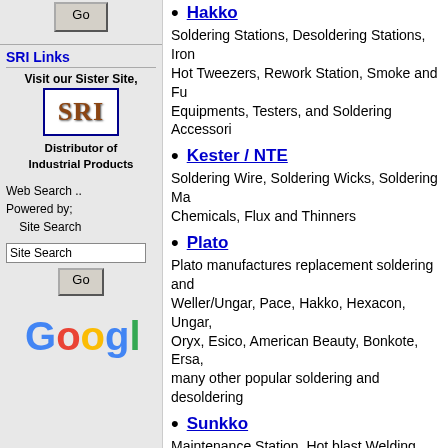[Figure (logo): Go button for Articles section]
SRI Links
Visit our Sister Site,
[Figure (logo): SRI logo - brown metallic text on white background with dark blue border]
Distributor of Industrial Products
Web Search ..
Powered by;
Site Search
Site Search
[Figure (logo): Google logo in multicolor]
Hakko
Soldering Stations, Desoldering Stations, Iron Hot Tweezers, Rework Station, Smoke and Fu Equipments, Testers, and Soldering Accessori
Kester / NTE
Soldering Wire, Soldering Wicks, Soldering Ma Chemicals, Flux and Thinners
Plato
Plato manufactures replacement soldering and Weller/Ungar, Pace, Hakko, Hexacon, Ungar, Oryx, Esico, American Beauty, Bonkote, Ersa, many other popular soldering and desoldering
Sunkko
Maintenance Station, Hot blast Welding Remo Soldering Iron, Attracting Gun, Pre-heater Sta Solder Iron Thermometer, Cleaning Machine, and Iron Holder & Accessories
Velleman
Soldering Accessories, Cordless Soldering Bit Tools, DeSoldering Accessories, DeSoldering
Xytronic
Soldering Stations, Desoldering Stations, Iron Hot Tweezers, Rework Station, Smoke and Fu Equipments, and Soldering Accessories